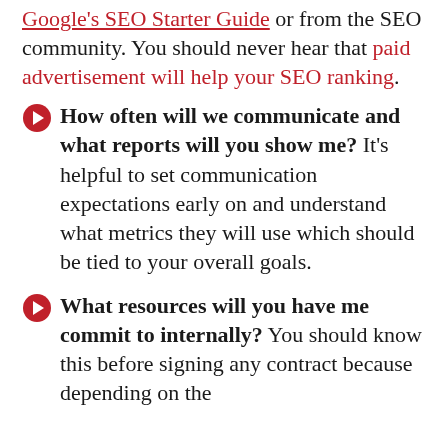Google's SEO Starter Guide or from the SEO community. You should never hear that paid advertisement will help your SEO ranking.
How often will we communicate and what reports will you show me? It's helpful to set communication expectations early on and understand what metrics they will use which should be tied to your overall goals.
What resources will you have me commit to internally? You should know this before signing any contract because depending on the